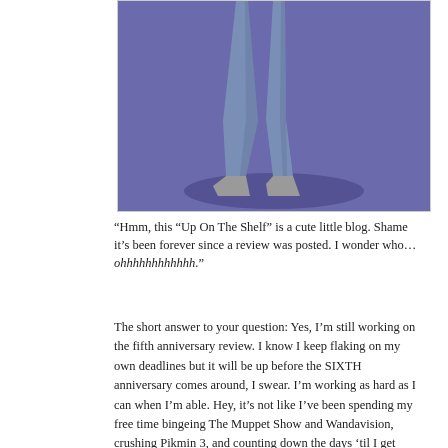[Figure (illustration): Illustration of a cartoon character's lower body — legs in blue/slate-colored clothing and grey feet/shoes, on a purple background with a dark shadow beneath]
“Hmm, this “Up On The Shelf” is a cute little blog. Shame it’s been forever since a review was posted. I wonder who…ohhhhhhhhhhhh.”
The short answer to your question: Yes, I’m still working on the fifth anniversary review. I know I keep flaking on my own deadlines but it will be up before the SIXTH anniversary comes around, I swear. I’m working as hard as I can when I’m able. Hey, it’s not like I’ve been spending my free time bingeing The Muppet Show and Wandavision, crushing Pikmin 3, and counting down the days ‘til I get vaccinated, heh heh heh.